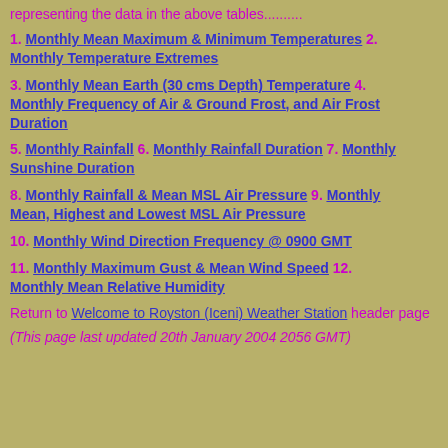representing the data in the above tables..........
1. Monthly Mean Maximum & Minimum Temperatures   2. Monthly Temperature Extremes
3. Monthly Mean Earth (30 cms Depth) Temperature   4. Monthly Frequency of Air & Ground Frost, and Air Frost Duration
5. Monthly Rainfall   6. Monthly Rainfall Duration   7. Monthly Sunshine Duration
8. Monthly Rainfall & Mean MSL Air Pressure   9. Monthly Mean, Highest and Lowest MSL Air Pressure
10. Monthly Wind Direction Frequency @ 0900 GMT
11. Monthly Maximum Gust & Mean Wind Speed   12. Monthly Mean Relative Humidity
Return to Welcome to Royston (Iceni) Weather Station header page
(This page last updated 20th January 2004 2056 GMT)